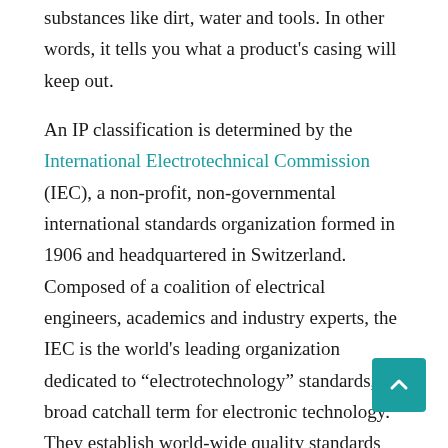substances like dirt, water and tools. In other words, it tells you what a product's casing will keep out.
An IP classification is determined by the International Electrotechnical Commission (IEC), a non-profit, non-governmental international standards organization formed in 1906 and headquartered in Switzerland. Composed of a coalition of electrical engineers, academics and industry experts, the IEC is the world's leading organization dedicated to “electrotechnology” standards, a broad catchall term for electronic technology. They establish world-wide quality standards for electrotechnologies. Currently, 8[x] countries participate in their program.